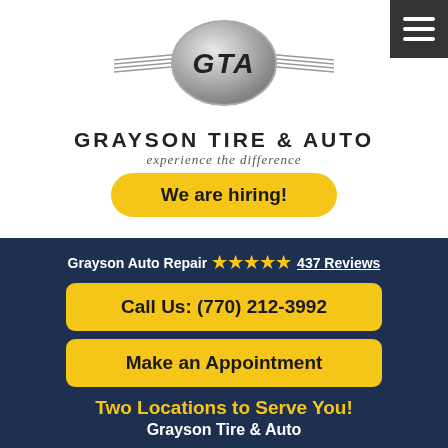[Figure (logo): GTA - Grayson Tire & Auto logo with winged emblem and oval badge]
GRAYSON TIRE & AUTO
experience the difference
We are hiring!
Grayson Auto Repair ★★★★★ 437 Reviews
Call Us: (770) 212-3992
Make an Appointment
Two Locations to Serve You!
Grayson Tire & Auto